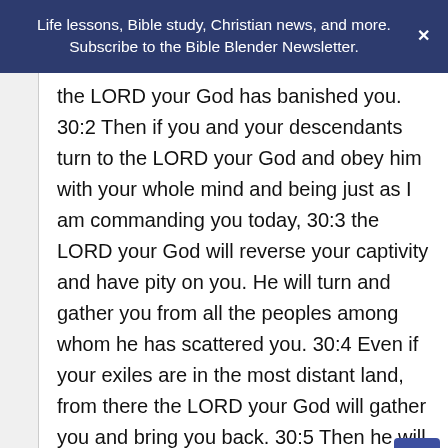Life lessons, Bible study, Christian news, and more. Subscribe to the Bible Blender Newsletter.
the LORD your God has banished you. 30:2 Then if you and your descendants turn to the LORD your God and obey him with your whole mind and being just as I am commanding you today, 30:3 the LORD your God will reverse your captivity and have pity on you. He will turn and gather you from all the peoples among whom he has scattered you. 30:4 Even if your exiles are in the most distant land, from there the LORD your God will gather you and bring you back. 30:5 Then he will bring you to